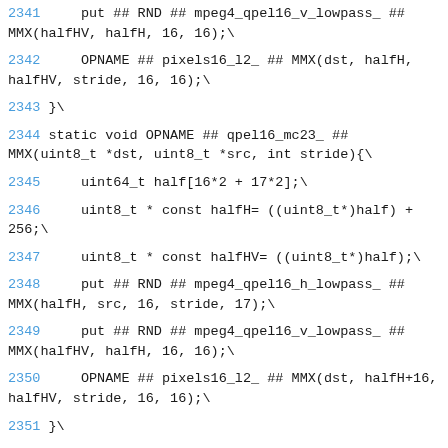2341     put ## RND ## mpeg4_qpel16_v_lowpass_ ## MMX(halfHV, halfH, 16, 16);\
2342     OPNAME ## pixels16_l2_ ## MMX(dst, halfH, halfHV, stride, 16, 16);\
2343 }\
2344 static void OPNAME ## qpel16_mc23_ ## MMX(uint8_t *dst, uint8_t *src, int stride){\
2345     uint64_t half[16*2 + 17*2];\
2346     uint8_t * const halfH= ((uint8_t*)half) + 256;\
2347     uint8_t * const halfHV= ((uint8_t*)half);\
2348     put ## RND ## mpeg4_qpel16_h_lowpass_ ## MMX(halfH, src, 16, stride, 17);\
2349     put ## RND ## mpeg4_qpel16_v_lowpass_ ## MMX(halfHV, halfH, 16, 16);\
2350     OPNAME ## pixels16_l2_ ## MMX(dst, halfH+16, halfHV, stride, 16, 16);\
2351 }\
2352 static void OPNAME ## qpel16_mc12_ ## MMX(uint8_t *dst, uint8_t *src, int stride){\
2353     uint64_t half[17*2];\
2354     uint8_t * const halfH= ((uint8_t*)half);\
2355     put ## RND ## mpeg4_qpel16_h_lowpass_ ## MMX(halfH, src, 16, stride, 17);\